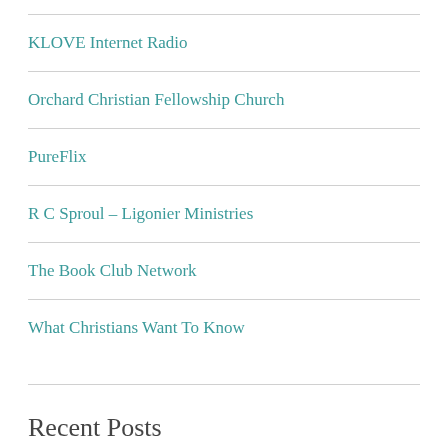KLOVE Internet Radio
Orchard Christian Fellowship Church
PureFlix
R C Sproul – Ligonier Ministries
The Book Club Network
What Christians Want To Know
Recent Posts
The Truth of Heaven and Hell